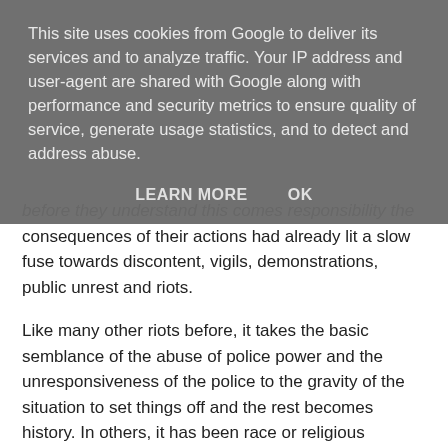This site uses cookies from Google to deliver its services and to analyze traffic. Your IP address and user-agent are shared with Google along with performance and security metrics to ensure quality of service, generate usage statistics, and to detect and address abuse.
LEARN MORE   OK
before they understand this comes responsibility the consequences of their actions had already lit a slow fuse towards discontent, vigils, demonstrations, public unrest and riots.
Like many other riots before, it takes the basic semblance of the abuse of police power and the unresponsiveness of the police to the gravity of the situation to set things off and the rest becomes history. In others, it has been race or religious tensions and sometimes acts of the government where that are disconnected from their electorate.
Simmering societal issues
In our advanced societies we maintain an uneasy calm in the midst of simmering tensions of associated breakdown that in...